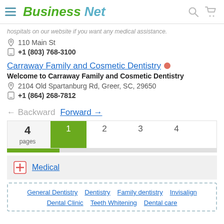Business Net
hospitals on our website if you want any medical assistance.
110 Main St
+1 (803) 768-3100
Carraway Family and Cosmetic Dentistry
Welcome to Carraway Family and Cosmetic Dentistry
2104 Old Spartanburg Rd, Greer, SC, 29650
+1 (864) 268-7812
← Backward   Forward →
4 pages  1  2  3  4
Medical
General Dentistry   Dentistry   Family dentistry   Invisalign   Dental Clinic   Teeth Whitening   Dental care